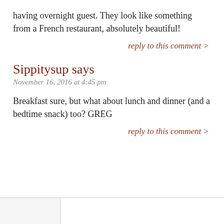having overnight guest. They look like something from a French restaurant, absolutely beautiful!
reply to this comment >
Sippitysup says
November 16, 2016 at 4:45 pm
Breakfast sure, but what about lunch and dinner (and a bedtime snack) too? GREG
reply to this comment >